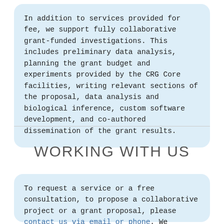In addition to services provided for fee, we support fully collaborative grant-funded investigations. This includes preliminary data analysis, planning the grant budget and experiments provided by the CRG Core facilities, writing relevant sections of the proposal, data analysis and biological inference, custom software development, and co-authored dissemination of the grant results.
WORKING WITH US
To request a service or a free consultation, to propose a collaborative project or a grant proposal, please contact us via email or phone. We encourage researchers to discuss both experimental and bioinformatics procedures before submitting